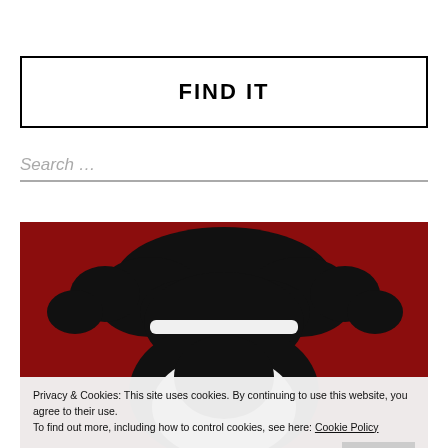FIND IT
Search …
[Figure (illustration): Red background illustration with a black silhouette of Santa Claus figure with white beard and hat details, partially visible at bottom of image area]
Privacy & Cookies: This site uses cookies. By continuing to use this website, you agree to their use.
To find out more, including how to control cookies, see here: Cookie Policy
Accept